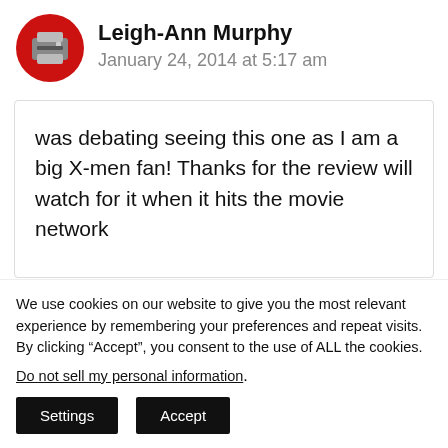[Figure (logo): Red circular avatar icon with a printer/device symbol in gray and white]
Leigh-Ann Murphy
January 24, 2014 at 5:17 am
was debating seeing this one as I am a big X-men fan! Thanks for the review will watch for it when it hits the movie network
We use cookies on our website to give you the most relevant experience by remembering your preferences and repeat visits. By clicking “Accept”, you consent to the use of ALL the cookies.
Do not sell my personal information.
Settings
Accept